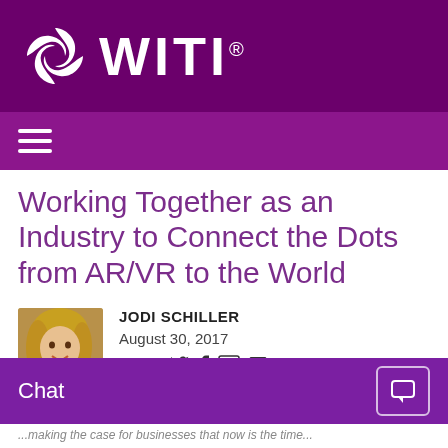WITI
Working Together as an Industry to Connect the Dots from AR/VR to the World
JODI SCHILLER
August 30, 2017
Share:
Chat
...making the case for businesses that now is the time...